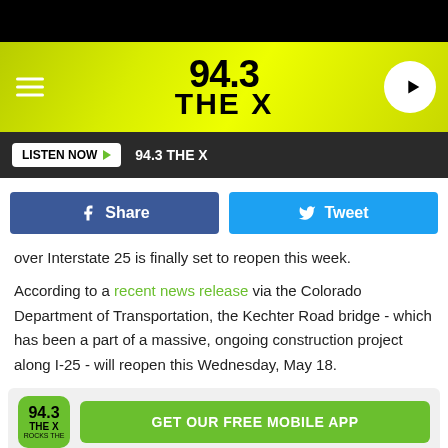[Figure (logo): 94.3 The X radio station header banner with yellow-green gradient background, hamburger menu icon on left, 94.3 THE X logo in center, play button circle on right]
LISTEN NOW  94.3 THE X
Share   Tweet
over Interstate 25 is finally set to reopen this week.
According to a recent news release via the Colorado Department of Transportation, the Kechter Road bridge - which has been a part of a massive, ongoing construction project along I-25 - will reopen this Wednesday, May 18.
[Figure (logo): 94.3 The X app promotion banner with station logo icon and GET OUR FREE MOBILE APP button]